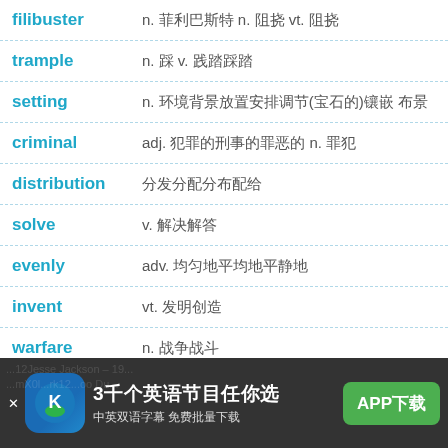filibuster  n. 菲利巴斯特 n. 阻挠 vt. 阻挠
trample  n. 踩 v. 践踏踩踏
setting  n. 环境背景放置安排调节(宝石的)镶嵌 布景
criminal  adj. 犯罪的刑事的罪恶的 n. 罪犯
distribution  分发分配分布配给
solve  v. 解决解答
evenly  adv. 均匀地平均地平静地
invent  vt. 发明创造
warfare  n. 战争战斗
搜索
[Figure (screenshot): Mobile app advertisement banner for an English learning app showing '3千个英语节目任你选' (3000 English programs to choose from), '中英双语字幕 免费批量下载' (Chinese-English subtitles, free batch download), with APP下载 (APP Download) button]